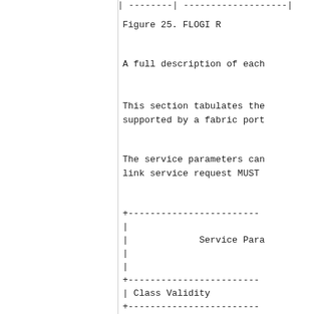Figure 25. FLOGI R
A full description of each
This section tabulates the supported by a fabric port
The service parameters can link service request MUST
[Figure (schematic): Partial ASCII diagram showing a table structure with Service Parameters header row, Class Validity row, and Service Options row, with dashed border lines.]